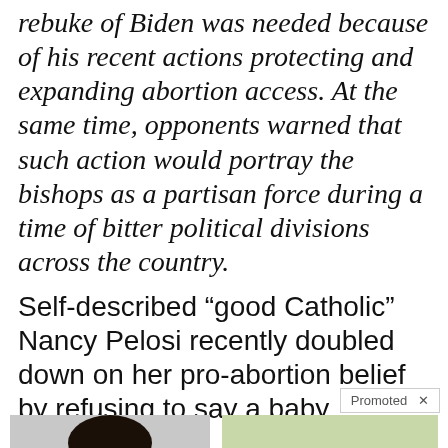rebuke of Biden was needed because of his recent actions protecting and expanding abortion access. At the same time, opponents warned that such action would portray the bishops as a partisan force during a time of bitter political divisions across the country.
Self-described “good Catholic” Nancy Pelosi recently doubled down on her pro-abortion belief by refusing to say a baby
Promoted ×
[Figure (photo): Person placing hand on chest, appearing to have a pain or discomfort.]
4 Warning Signs Of Dementia (#2 Is Scary)
🔥 15,525
[Figure (photo): Golden retriever dog holding a tray of raw ground meat. Video play button overlay visible.]
3 Dangerous Ingredients You’re Feeding Your Dog
🔥 195